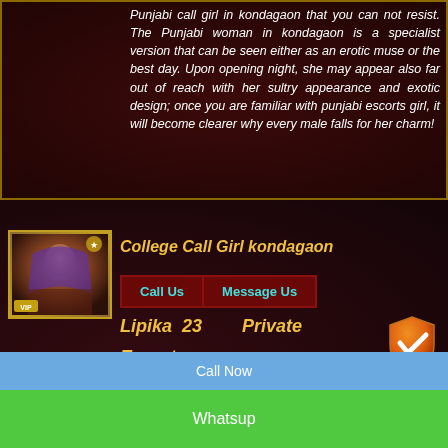Punjabi call girl in kondagaon that you can not resist. The Punjabi woman in kondagaon is a specialist version that can be seen either as an erotic muse or the best day. Upon opening night, she may appear also far out of reach with her sultry appearance and exotic design; once you are familiar with punjabi escorts girl, it will become clearer why every male falls for her charm!
[Figure (photo): VIP photo of a woman in traditional Indian attire with a purple dupatta]
College Call Girl kondagaon
Call Us   Message Us
Lipika  23  Private Escorts kondagaon
[Figure (illustration): Orange shield with white checkmark verified badge]
Call Now
Whatsup